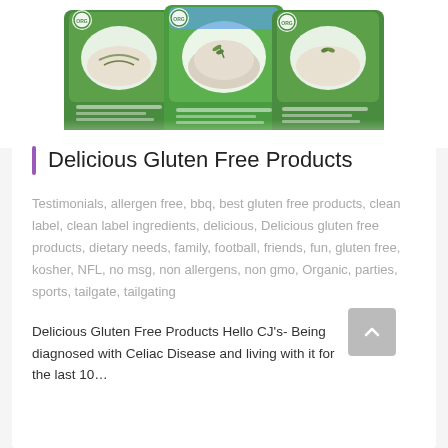[Figure (photo): Product packaging photo showing three green bags of gluten-free food products with rice/grain imagery on a white background]
Delicious Gluten Free Products
Testimonials, allergen free, bbq, best gluten free products, clean label, clean label ingredients, delicious, Delicious gluten free products, dietary needs, family, football, friends, fun, gluten free, kosher, NFL, no msg, non allergens, non gmo, Organic, parties, sports, tailgate, tailgating
Delicious Gluten Free Products Hello CJ's- Being diagnosed with Celiac Disease and living with it for the last 10…